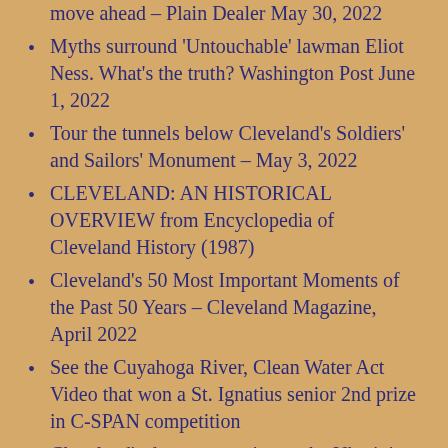move ahead – Plain Dealer May 30, 2022
Myths surround 'Untouchable' lawman Eliot Ness. What's the truth? Washington Post June 1, 2022
Tour the tunnels below Cleveland's Soldiers' and Sailors' Monument – May 3, 2022
CLEVELAND: AN HISTORICAL OVERVIEW from Encyclopedia of Cleveland History (1987)
Cleveland's 50 Most Important Moments of the Past 50 Years – Cleveland Magazine, April 2022
See the Cuyahoga River, Clean Water Act Video that won a St. Ignatius senior 2nd prize in C-SPAN competition
Cleveland's deep connection to the Ukrainian people 2.28.2022